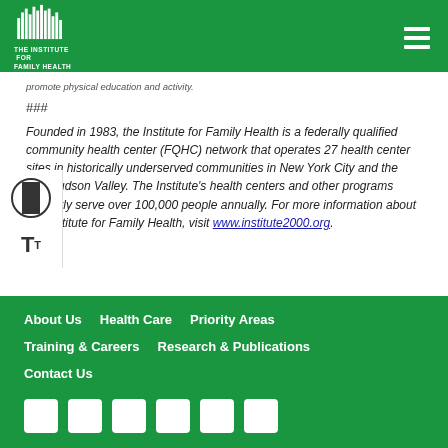The Institute for Family Health
promote physical education and activity.
###
Founded in 1983, the Institute for Family Health is a federally qualified community health center (FQHC) network that operates 27 health center sites in historically underserved communities in New York City and the Mid-Hudson Valley. The Institute's health centers and other programs currently serve over 100,000 people annually. For more information about the Institute for Family Health, visit www.institute2000.org.
About Us   Health Care   Priority Areas   Training & Careers   Research & Publications   Contact Us